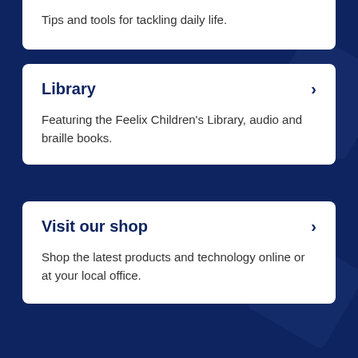Tips and tools for tackling daily life.
Library
Featuring the Feelix Children's Library, audio and braille books.
Visit our shop
Shop the latest products and technology online or at your local office.